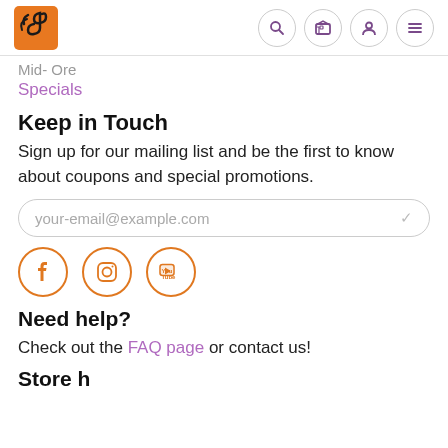[Figure (logo): Music store logo: orange square with musical note and dark swirl]
[Figure (infographic): Navigation icons: search, cart, user, menu — purple/gray outlined circles]
Specials
Keep in Touch
Sign up for our mailing list and be the first to know about coupons and special promotions.
your-email@example.com
[Figure (infographic): Three orange circle social media icons: Facebook, Instagram, YouTube]
Need help?
Check out the FAQ page or contact us!
Store h...